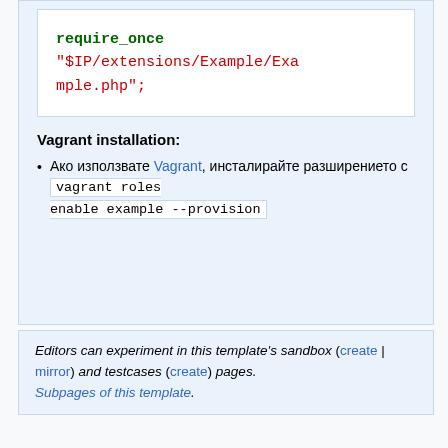require_once "$IP/extensions/Example/Example.php";
Vagrant installation:
Ако използвате Vagrant, инсталирайте разширението с vagrant roles enable example --provision
Editors can experiment in this template's sandbox (create | mirror) and testcases (create) pages. Subpages of this template.